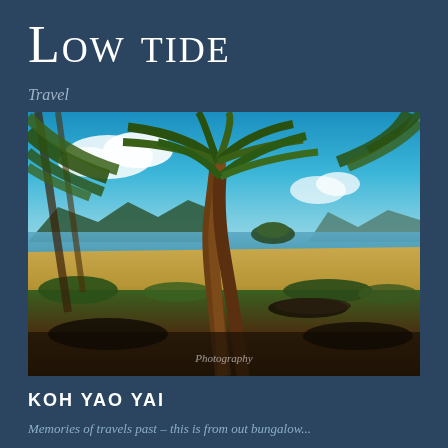Low tide
Travel
[Figure (photo): Tropical beach scene at low tide showing palm trees in the foreground, exposed sandy/muddy tidal flat, a small island in the middle distance, blue sky with clouds, and mountains on the horizon. Location: Koh Yao Yai, Thailand. Photographer watermark visible at bottom center.]
KOH YAO YAI
Memories of travels past – this is from out bungalow...